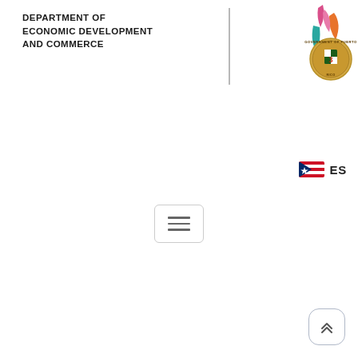[Figure (logo): Department of Economic Development and Commerce logo with text and Puerto Rico seal]
[Figure (screenshot): ES language toggle button with Puerto Rico flag icon]
[Figure (screenshot): Hamburger menu button (three horizontal lines in rounded rectangle)]
[Figure (screenshot): Scroll-to-top button with upward chevron arrows]